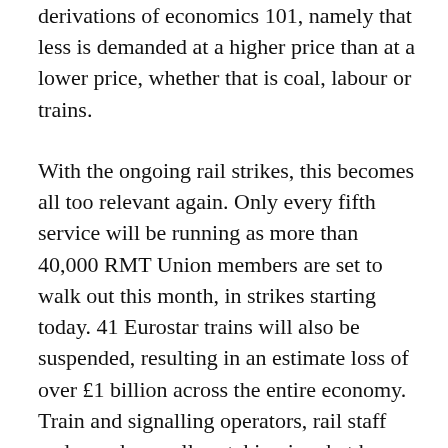derivations of economics 101, namely that less is demanded at a higher price than at a lower price, whether that is coal, labour or trains.
With the ongoing rail strikes, this becomes all too relevant again. Only every fifth service will be running as more than 40,000 RMT Union members are set to walk out this month, in strikes starting today. 41 Eurostar trains will also be suspended, resulting in an estimate loss of over £1 billion across the entire economy. Train and signalling operators, rail staff and guards are all partaking in what has been described as the biggest rail strike in modern history.